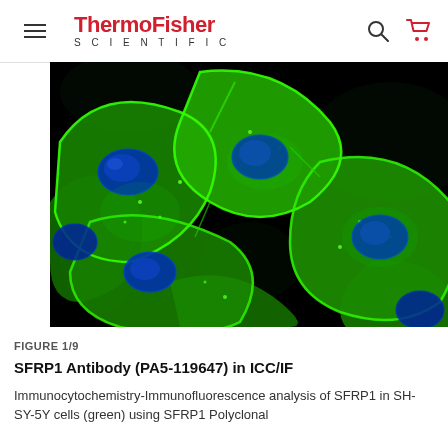ThermoFisher SCIENTIFIC
[Figure (photo): Fluorescence microscopy image of SH-SY-5Y cells stained with SFRP1 antibody (green) and nuclear stain (blue) on black background, showing multiple cells with bright green cytoplasmic staining and blue oval nuclei]
FIGURE 1/9
SFRP1 Antibody (PA5-119647) in ICC/IF
Immunocytochemistry-Immunofluorescence analysis of SFRP1 in SH-SY-5Y cells (green) using SFRP1 Polyclonal